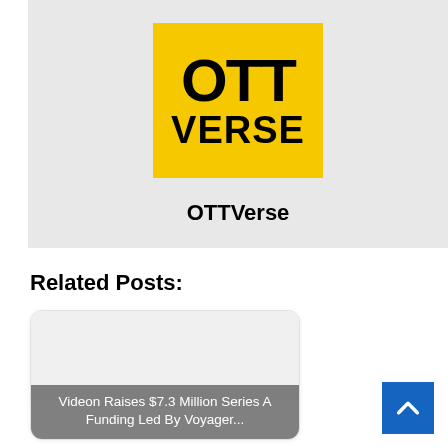[Figure (logo): OTTVerse logo — yellow square background with bold black text 'OTT' on top and 'VERSE' below, on a light gray card. Below the logo square is the label 'OTTVerse' in bold black text.]
Related Posts:
[Figure (screenshot): A related post card with rounded corners showing a white/gray background image area and an overlay caption: 'Videon Raises $7.3 Million Series A Funding Led By Voyager...']
[Figure (other): Blue 'back to top' button with upward chevron arrow, positioned bottom right.]